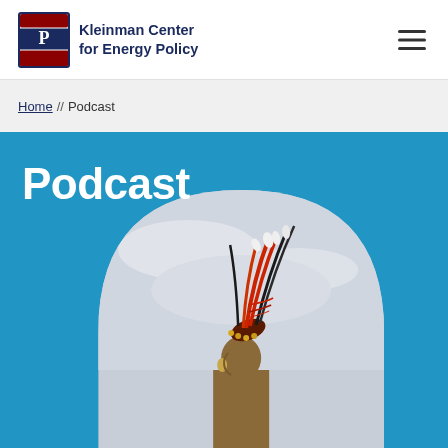[Figure (logo): Kleinman Center for Energy Policy logo with Penn shield]
[Figure (other): Hamburger menu icon (three horizontal lines)]
Home // Podcast
Podcast
[Figure (photo): Person wearing traditional Native American feathered headdress against a cloudy sky, displayed in an arched/rounded rectangle frame on a blue background]